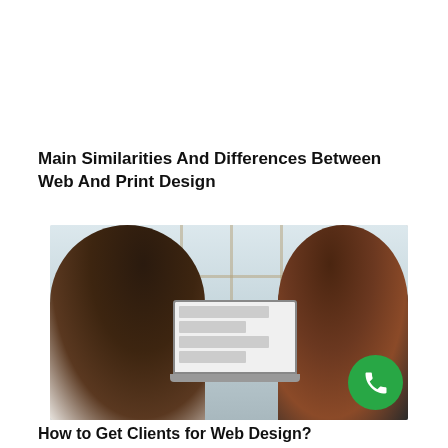Main Similarities And Differences Between Web And Print Design
[Figure (photo): Two women seen from behind sitting at a desk, one in white and one in dark clothing, looking at a laptop with a website displayed; window with grid frame in background; green phone call button overlaid at bottom right]
How to Get Clients for Web Design?